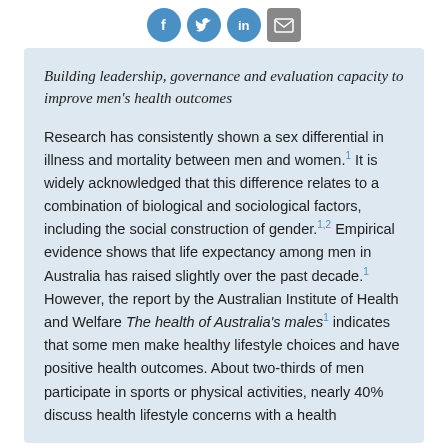[Social media icons: Facebook, Twitter, LinkedIn, Email]
Building leadership, governance and evaluation capacity to improve men's health outcomes
Research has consistently shown a sex differential in illness and mortality between men and women.1 It is widely acknowledged that this difference relates to a combination of biological and sociological factors, including the social construction of gender.1,2 Empirical evidence shows that life expectancy among men in Australia has raised slightly over the past decade.1 However, the report by the Australian Institute of Health and Welfare The health of Australia's males1 indicates that some men make healthy lifestyle choices and have positive health outcomes. About two-thirds of men participate in sports or physical activities, nearly 40% discuss health lifestyle concerns with a health